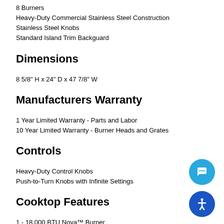8 Burners
Heavy-Duty Commercial Stainless Steel Construction
Stainless Steel Knobs
Standard Island Trim Backguard
Dimensions
8 5/8" H x 24" D x 47 7/8" W
Manufacturers Warranty
1 Year Limited Warranty - Parts and Labor
10 Year Limited Warranty - Burner Heads and Grates
Controls
Heavy-Duty Control Knobs
Push-to-Turn Knobs with Infinite Settings
Cooktop Features
1 - 18,000 BTU Nova™ Burner
1 - 9,000 BTU Simmer Burner
130° Simmer Burner